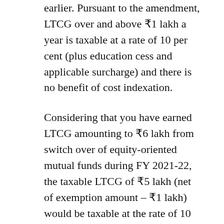earlier. Pursuant to the amendment, LTCG over and above ₹1 lakh a year is taxable at a rate of 10 per cent (plus education cess and applicable surcharge) and there is no benefit of cost indexation.
Considering that you have earned LTCG amounting to ₹6 lakh from switch over of equity-oriented mutual funds during FY 2021-22, the taxable LTCG of ₹5 lakh (net of exemption amount – ₹1 lakh) would be taxable at the rate of 10 per cent (plus education cess and applicable surcharge).
I am 75 years old. Under the head 'Income from other sources' I get interest quarterly or half yearly, by investing in non-cumulative